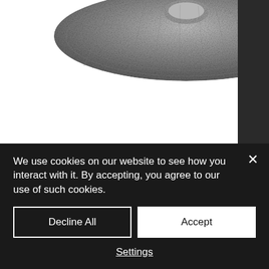[Figure (photo): Black and white photograph of a tagine lid (textured clay cone top) visible at the top of the page, with a dark vertical strip on the right side]
In our opinion, no tagine-cooked stew should be served without warm bread. And to ensure our fresh baked accoutrements make it to the tables sans-tepidity, we travel from Lebanon to Mexico to find the tortilleros available at Ayres
We use cookies on our website to see how you interact with it. By accepting, you agree to our use of such cookies.
Decline All
Accept
Settings